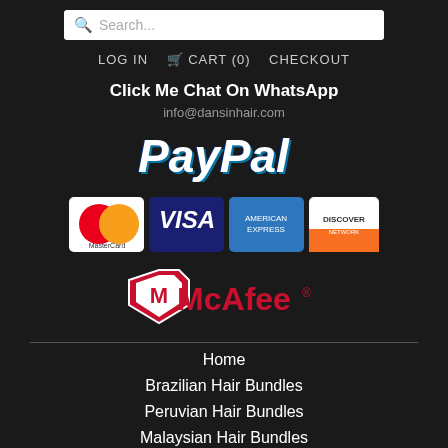[Figure (screenshot): Search bar with magnifying glass icon and placeholder text 'Search...']
LOG IN   🛒 CART (0)   CHECKOUT
Click Me Chat On WhatsApp
info@dansinhair.com
[Figure (logo): PayPal logo in blue and white italic bold text]
[Figure (logo): Payment logos: MasterCard, VISA, American Express, Discover]
[Figure (logo): McAfee logo with shield icon and red text]
Home
Brazilian Hair Bundles
Peruvian Hair Bundles
Malaysian Hair Bundles